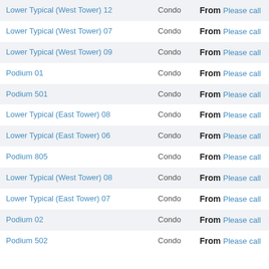| Name | Type | Price |
| --- | --- | --- |
| Lower Typical (West Tower) 12 | Condo | From Please call |
| Lower Typical (West Tower) 07 | Condo | From Please call |
| Lower Typical (West Tower) 09 | Condo | From Please call |
| Podium 01 | Condo | From Please call |
| Podium 501 | Condo | From Please call |
| Lower Typical (East Tower) 08 | Condo | From Please call |
| Lower Typical (East Tower) 06 | Condo | From Please call |
| Podium 805 | Condo | From Please call |
| Lower Typical (West Tower) 08 | Condo | From Please call |
| Lower Typical (East Tower) 07 | Condo | From Please call |
| Podium 02 | Condo | From Please call |
| Podium 502 | Condo | From Please call |